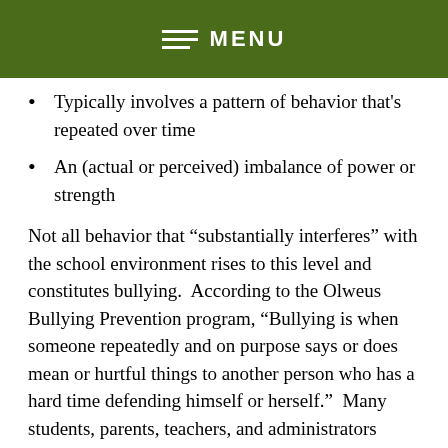MENU
Typically involves a pattern of behavior that's repeated over time
An (actual or perceived) imbalance of power or strength
Not all behavior that “substantially interferes” with the school environment rises to this level and constitutes bullying.  According to the Olweus Bullying Prevention program, “Bullying is when someone repeatedly and on purpose says or does mean or hurtful things to another person who has a hard time defending himself or herself.”  Many students, parents, teachers, and administrators struggle with distinguishing peer conflict from